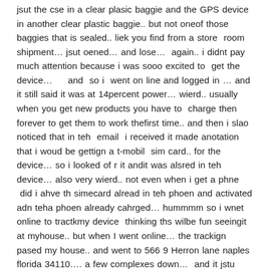jsut the cse in a clear plasic baggie and the GPS device in another clear plastic baggie.. but not oneof those baggies that is sealed.. liek you find from a store room shipment… jsut oened… and lose… again.. i didnt pay much attention because i was sooo excited to get the device… and so i went on line and logged in … and it still said it was at 14percent power… wierd.. usually when you get new products you have to charge then forever to get them to work thefirst time.. and then i slao noticed that in teh email i received it made anotation that i woud be gettign a t-mobil sim card.. for the device… so i looked of r it andit was alsred in teh device… also very wierd.. not even when i get a phne did i ahve th simecard alread in teh phoen and activated adn teha phoen already cahrged… hummmm so i wnet online to tractkmy device thinking ths wilbe fun seeingit at myhouse.. but when I went online… the trackign pased my house.. and went to 566 9 Herron lane naples florida 34110…. a few complexes down… and it jstu stayed there.. iscan see the satelite view of the home.. andit is not my address…